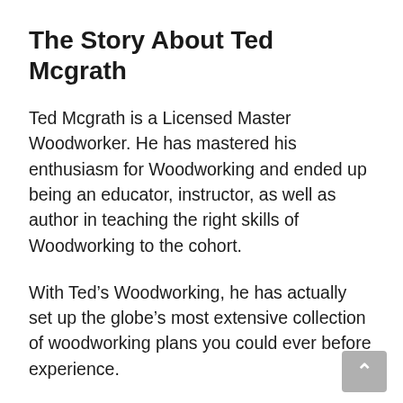The Story About Ted Mcgrath
Ted Mcgrath is a Licensed Master Woodworker. He has mastered his enthusiasm for Woodworking and ended up being an educator, instructor, as well as author in teaching the right skills of Woodworking to the cohort.
With Ted’s Woodworking, he has actually set up the globe’s most extensive collection of woodworking plans you could ever before experience.
The collection offers hands-on access to 16000 woodworking tasks with diverse